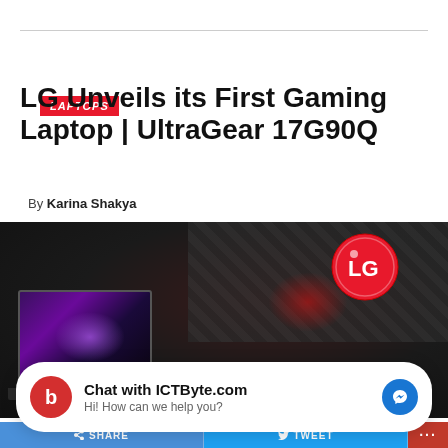LAPTOPS
LG Unveils its First Gaming Laptop | UltraGear 17G90Q
By Karina Shakya
[Figure (photo): LG UltraGear gaming laptop promotional image with LG logo, dark textured background, and text overlay reading 'LG Anounced its First']
Chat with ICTByte.com
Hi! How can we help you?
SHARE   TWEET   ...